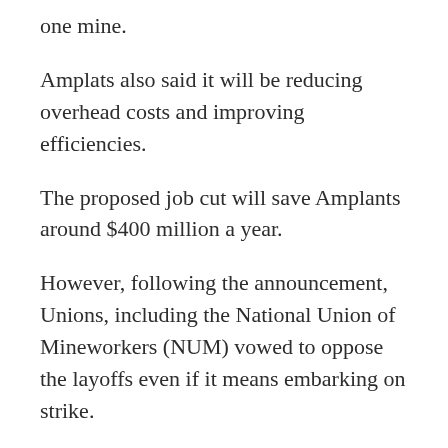one mine.
Amplats also said it will be reducing overhead costs and improving efficiencies.
The proposed job cut will save Amplants around $400 million a year.
However, following the announcement, Unions, including the National Union of Mineworkers (NUM) vowed to oppose the layoffs even if it means embarking on strike.
“Our agreement with Amplats was to cut 3,000 jobs and those jobs would not be forced retrenchments but voluntary severance packages. This agreement was reached a week ago,” NUM spokesman, Lesiba Seshoka said.